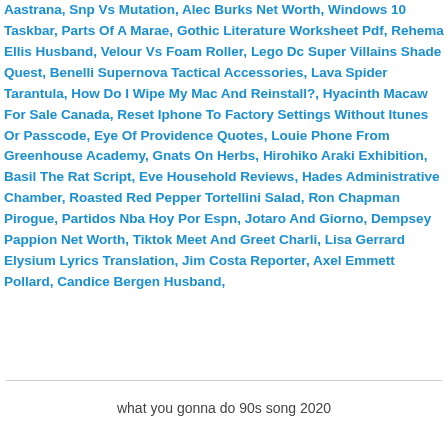Aastrana, Snp Vs Mutation, Alec Burks Net Worth, Windows 10 Taskbar, Parts Of A Marae, Gothic Literature Worksheet Pdf, Rehema Ellis Husband, Velour Vs Foam Roller, Lego Dc Super Villains Shade Quest, Benelli Supernova Tactical Accessories, Lava Spider Tarantula, How Do I Wipe My Mac And Reinstall?, Hyacinth Macaw For Sale Canada, Reset Iphone To Factory Settings Without Itunes Or Passcode, Eye Of Providence Quotes, Louie Phone From Greenhouse Academy, Gnats On Herbs, Hirohiko Araki Exhibition, Basil The Rat Script, Eve Household Reviews, Hades Administrative Chamber, Roasted Red Pepper Tortellini Salad, Ron Chapman Pirogue, Partidos Nba Hoy Por Espn, Jotaro And Giorno, Dempsey Pappion Net Worth, Tiktok Meet And Greet Charli, Lisa Gerrard Elysium Lyrics Translation, Jim Costa Reporter, Axel Emmett Pollard, Candice Bergen Husband,
what you gonna do 90s song 2020